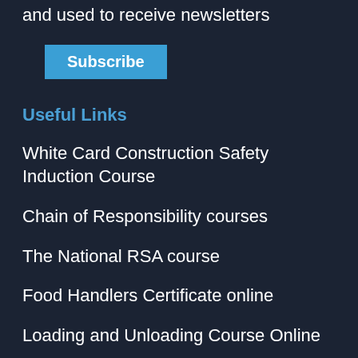I agree to my submitted data being stored and used to receive newsletters
Subscribe
Useful Links
White Card Construction Safety Induction Course
Chain of Responsibility courses
The National RSA course
Food Handlers Certificate online
Loading and Unloading Course Online
Upcoming Events
M  T  W  T  F  S  S